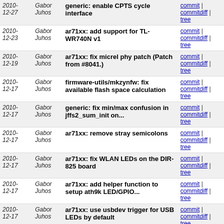| Date | Author | Message | Links |
| --- | --- | --- | --- |
| 2010-12-27 | Gabor Juhos | generic: enable CPTS cycle interface | commit | commitdiff | tree |
| 2010-12-23 | Gabor Juhos | ar71xx: add support for TL-WR740N v1 | commit | commitdiff | tree |
| 2010-12-19 | Gabor Juhos | ar71xx: fix micrel phy patch (Patch from #8041.) | commit | commitdiff | tree |
| 2010-12-17 | Gabor Juhos | firmware-utils/mkzynfw: fix available flash space calculation | commit | commitdiff | tree |
| 2010-12-17 | Gabor Juhos | generic: fix min/max confusion in jffs2_sum_init on... | commit | commitdiff | tree |
| 2010-12-17 | Gabor Juhos | ar71xx: remove stray semicolons | commit | commitdiff | tree |
| 2010-12-17 | Gabor Juhos | ar71xx: fix WLAN LEDs on the DIR-825 board | commit | commitdiff | tree |
| 2010-12-17 | Gabor Juhos | ar71xx: add helper function to setup ath9k LED/GPIO... | commit | commitdiff | tree |
| 2010-12-17 | Gabor Juhos | ar71xx: use usbdev trigger for USB LEDs by default | commit | commitdiff | tree |
| 2010-12-17 | Gabor Juhos | base-files: add support for the usbdev LED trigger | commit | commitdiff | tree |
| 2010-12-17 | Gabor Juhos | generic: add LED trigger for USB device presence/activity | commit | commitdiff | tree |
| 2010-12-17 | Gabor Juhos | generic: add usb_find_device_by_name helper | commit | commitdiff | tree |
| 2010-12-17 | Gabor Juhos | generic: nuke 2.6.33 specific stuff, is not used by... | commit | commitdiff | tree |
| 2010-12-17 | Gabor Juhos | ar71xx: UBNT Secondary MAC | commit | commitdiff | tree |